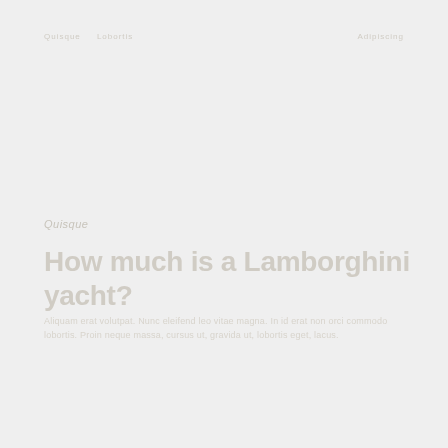Quisque · Lobortis
Adipiscing
Quisque
How much is a Lamborghini yacht?
Aliquam erat volutpat. Nunc eleifend leo vitae magna. In id erat non orci commodo lobortis. Proin neque massa, cursus ut, gravida ut, lobortis eget, lacus.